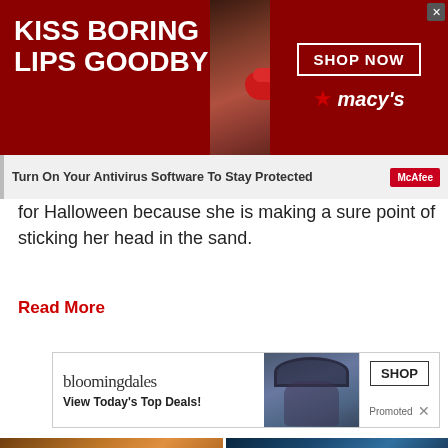[Figure (photo): Macy's advertisement banner showing a woman with red lips, text 'KISS BORING LIPS GOODBYE', 'SHOP NOW' button, and Macy's star logo on dark red background]
Turn On Your Antivirus Software To Stay Protected
for Halloween because she is making a sure point of sticking her head in the sand.
Read More
[Figure (photo): Bloomingdale's advertisement showing logo, 'View Today's Top Deals!' tagline, a woman with wide-brim hat, SHOP button, and Promoted label]
[Figure (photo): Two thumbnail images: left shows a video with play button over a sunset landscape, right shows an aerial coastal/beach scene]
[Figure (photo): Parallaxes Capital, LLC advertisement showing company logo, 'Alternative Asset Management' text, and 'Open' button]